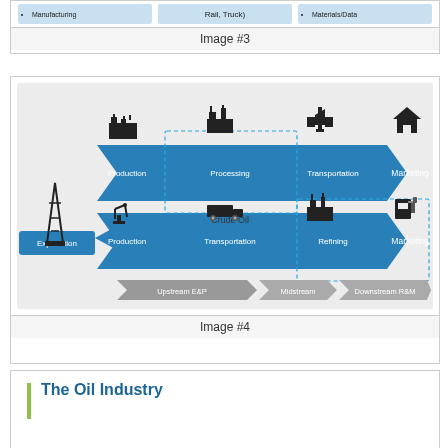[Figure (infographic): Partial view of previous image showing blue cells with bullet points: Manufacturing, Rail/Truck, Materials/Data]
Image #3
[Figure (flowchart): Oil industry value chain infographic showing Exploration branching into two paths: (1) Production, Processing, Transportation, Marketing for natural gas; (2) Production, Transportation, Refining, Marketing for crude oil. Bottom row shows Upstream E&P, Midstream, Downstream R&M segments.]
Image #4
The Oil Industry